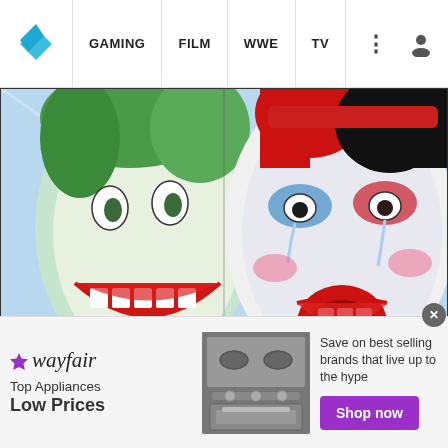GAMING  FILM  WWE  TV
[Figure (illustration): Comic book art showing the Joker and Harley Quinn. The Joker has green hair and a wide grin. Harley Quinn appears distressed with black and red makeup, crying. A speech bubble reads 'NO.']
10 Most Inappropriate Joker Storylines
Those times when the Clown Prince of Crime well and truly crossed the line.
WhatCulture
[Figure (photo): Partial thumbnail of a second article showing a person with red hair against a blue background.]
[Figure (other): Wayfair advertisement banner. Shows wayfair logo, 'Top Appliances Low Prices' text, image of a stove/oven appliance, and text 'Save on best selling brands that live up to the hype' with a purple 'Shop now' button.]